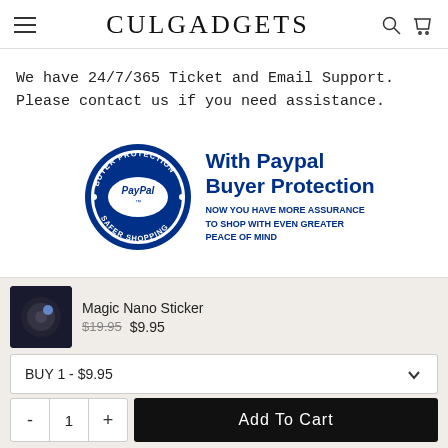CULGADGETS
We have 24/7/365 Ticket and Email Support. Please contact us if you need assistance.
[Figure (logo): PayPal Buyer Protection badge with circular PayPal logo and text: With Paypal Buyer Protection. NOW YOU HAVE MORE ASSURANCE TO SHOP WITH EVEN GREATER PEACE OF MIND]
Magic Nano Sticker $19.95 $9.95
BUY 1 - $9.95
- 1 + Add To Cart